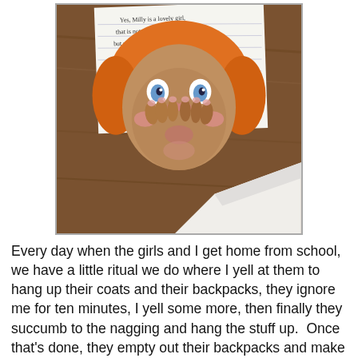[Figure (photo): A child's drawing of a face with orange hair, blue eyes, pink cheeks/nose/mouth features, on lined notebook paper, placed on a wooden table surface. The drawing shows a round face with hands raised near it.]
Every day when the girls and I get home from school, we have a little ritual we do where I yell at them to hang up their coats and their backpacks, they ignore me for ten minutes, I yell some more, then finally they succumb to the nagging and hang the stuff up.  Once that's done, they empty out their backpacks and make a pile for me on the kitchen table with all the papers they brought home.